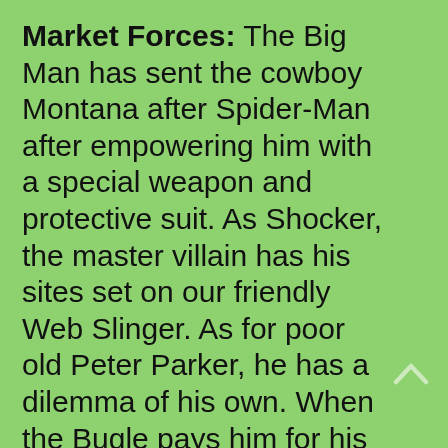Market Forces: The Big Man has sent the cowboy Montana after Spider-Man after empowering him with a special weapon and protective suit. As Shocker, the master villain has his sites set on our friendly Web Slinger. As for poor old Peter Parker, he has a dilemma of his own. When the Bugle pays him for his pictures, he must decide whether to buy a better camera to further his career or help Aunt May pay her overdue bills. Peter also has to blow off his friend Harry who needs his help studying.